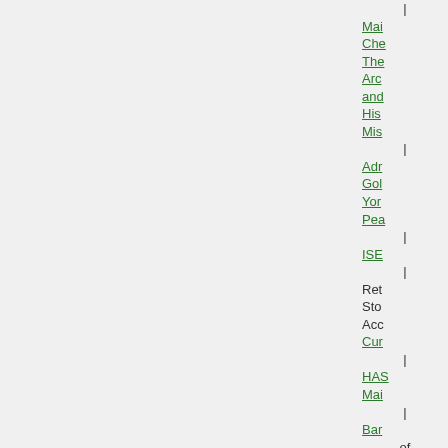| Mai Che The Arc and His Mis | Adr Gol Yor Pea | ISE | Ret Sto Acc Cur | HAS Mai | Bar of Yor | SC